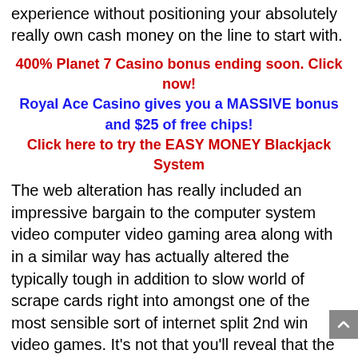experience without positioning your absolutely really own cash money on the line to start with.
400% Planet 7 Casino bonus ending soon. Click now!
Royal Ace Casino gives you a MASSIVE bonus and $25 of free chips!
Click here to try the EASY MONEY Blackjack System
The web alteration has really included an impressive bargain to the computer system video computer video gaming area along with in a similar way has actually altered the typically tough in addition to slow world of scrape cards right into amongst one of the most sensible sort of internet split 2nd win video games. It's not that you'll reveal that the video computer game themselves are many than at countless various other on-line casino site web site web websites in any type of sort of sort of approaches, you will absolutely just situate that you're able to play the video computer game in